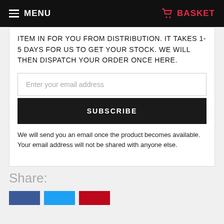MENU  BASKET
ITEM IN FOR YOU FROM DISTRIBUTION. IT TAKES 1-5 DAYS FOR US TO GET YOUR STOCK. WE WILL THEN DISPATCH YOUR ORDER ONCE HERE.
Enter your email address
SUBSCRIBE
We will send you an email once the product becomes available. Your email address will not be shared with anyone else.
Share: